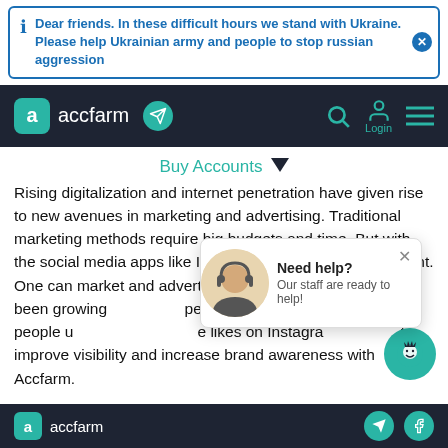Dear friends. In these difficult hours we stand with Ukraine. Please help Ukrainian army and people to stop russian aggression
[Figure (screenshot): Accfarm website navigation bar with logo, telegram icon, search, login, and menu icons]
Buy Accounts ▼
Rising digitalization and internet penetration have given rise to new avenues in marketing and advertising. Traditional marketing methods require big budgets and time. But with the social media apps like Instagram, budget is no constraint. One can market and advertise themselves... ...s been growing... ...people are getti... ...way people u... ...e likes on Instagra... to improve visibility and increase brand awareness with Accfarm.
[Figure (screenshot): Need help? popup with support agent photo. Text: Our staff are ready to help!]
accfarm footer with social media icons